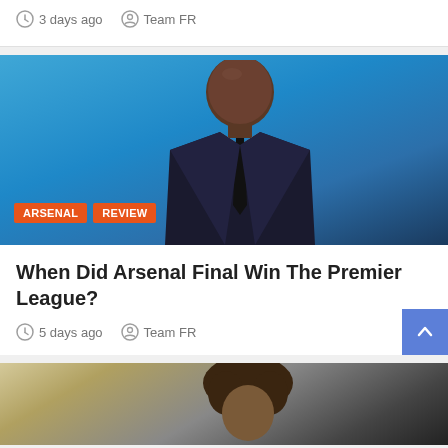3 days ago   Team FR
[Figure (photo): A man in a dark suit and tie seated against a blue background, with ARSENAL and REVIEW badges overlaid at bottom left]
When Did Arsenal Final Win The Premier League?
5 days ago   Team FR
[Figure (photo): Partial image of a person with curly hair against a blurred background]